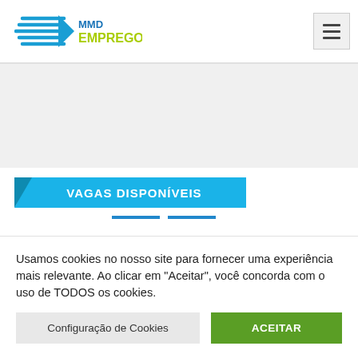[Figure (logo): MMD Emprego logo with blue horizontal lines and arrow shape, 'MMD' in blue and 'EMPREGO' in yellow-green text]
VAGAS DISPONÍVEIS
Usamos cookies no nosso site para fornecer uma experiência mais relevante. Ao clicar em “Aceitar”, você concorda com o uso de TODOS os cookies.
Configuração de Cookies
ACEITAR